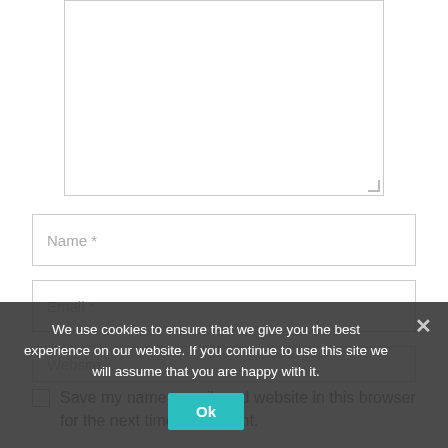[Figure (screenshot): Empty textarea input box with resize handle at bottom-right corner]
Name *
Email *
Website
Save my name, email, and website in this browser for the next time I comment.
We use cookies to ensure that we give you the best experience on our website. If you continue to use this site we will assume that you are happy with it.
Ok